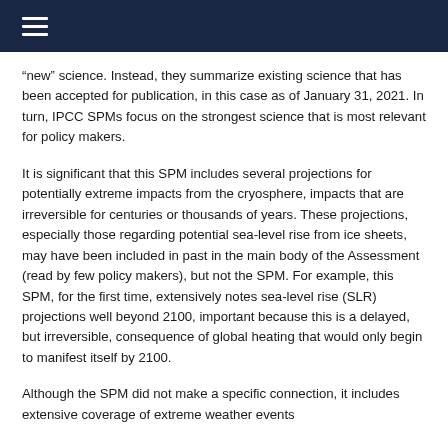≡
“new” science. Instead, they summarize existing science that has been accepted for publication, in this case as of January 31, 2021. In turn, IPCC SPMs focus on the strongest science that is most relevant for policy makers.
It is significant that this SPM includes several projections for potentially extreme impacts from the cryosphere, impacts that are irreversible for centuries or thousands of years. These projections, especially those regarding potential sea-level rise from ice sheets, may have been included in past in the main body of the Assessment (read by few policy makers), but not the SPM. For example, this SPM, for the first time, extensively notes sea-level rise (SLR) projections well beyond 2100, important because this is a delayed, but irreversible, consequence of global heating that would only begin to manifest itself by 2100.
Although the SPM did not make a specific connection, it includes extensive coverage of extreme weather events